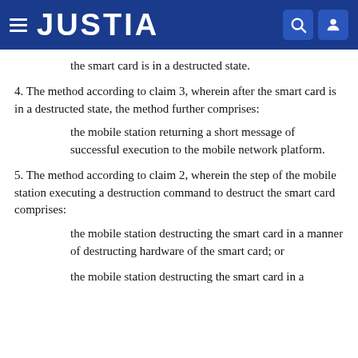JUSTIA
the smart card is in a destructed state.
4. The method according to claim 3, wherein after the smart card is in a destructed state, the method further comprises:
the mobile station returning a short message of successful execution to the mobile network platform.
5. The method according to claim 2, wherein the step of the mobile station executing a destruction command to destruct the smart card comprises:
the mobile station destructing the smart card in a manner of destructing hardware of the smart card; or
the mobile station destructing the smart card in a